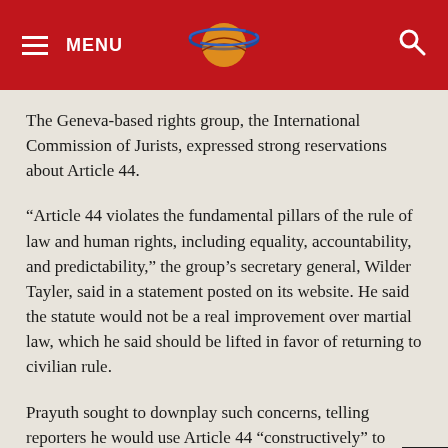MENU [logo] [search]
The Geneva-based rights group, the International Commission of Jurists, expressed strong reservations about Article 44.
“Article 44 violates the fundamental pillars of the rule of law and human rights, including equality, accountability, and predictability,” the group’s secretary general, Wilder Tayler, said in a statement posted on its website. He said the statute would not be a real improvement over martial law, which he said should be lifted in favor of returning to civilian rule.
Prayuth sought to downplay such concerns, telling reporters he would use Article 44 “constructively” to solve security issues.